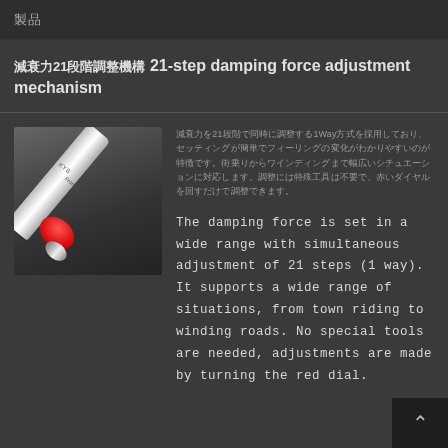製品
減衰力21段階調整機構 21-step damping force adjustment mechanism
[Figure (photo): Close-up photo of a motorcycle suspension shock absorber showing a white/silver body with a red adjustment dial at the base and a silver cap end, photographed at an angle against a dark background.]
減衰力を21段階で同時に調整する1Way方式を採用しており、セッティングが簡単でフィーリングの変化がわかりやすいのが特徴です。街乗りからワインディングまで幅広いシチュエーションに対応します。調整には特殊工具は不要で、赤いダイヤルを回すだけで調整できます。
The damping force is set in a wide range with simultaneous adjustment of 21 steps (1 way). It supports a wide range of situations, from town riding to winding roads. No special tools are needed, adjustments are made by turning the red dial.